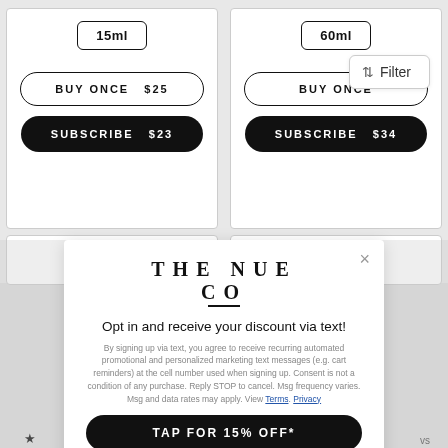[Figure (screenshot): Product card for 15ml size with BUY ONCE $25 and SUBSCRIBE $23 buttons]
[Figure (screenshot): Product card for 60ml size with BUY ONCE and SUBSCRIBE $34 buttons, with Filter overlay button]
[Figure (screenshot): Partial bottom product cards row]
[Figure (screenshot): The Nue Co modal popup with opt-in text and TAP FOR 15% OFF* button]